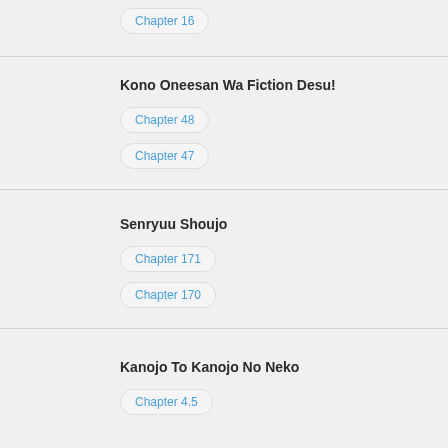Chapter 16
Kono Oneesan Wa Fiction Desu!
Chapter 48
Chapter 47
Senryuu Shoujo
Chapter 171
Chapter 170
Kanojo To Kanojo No Neko
Chapter 4.5